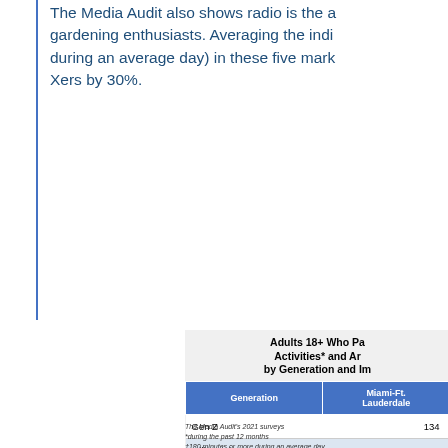The Media Audit also shows radio is the a... gardening enthusiasts. Averaging the indi... during an average day) in these five mark... Xers by 30%.
| Generation | Miami-Ft. Lauderdale | C... |
| --- | --- | --- |
| Gen Z | 134 |  |
| Millennials | 170 |  |
| Gen X | 131 |  |
| Baby Boomers | 48 |  |
| Silent Generation | † |  |
The Media Audit's 2021 surveys
*during the past 12 months
†180 minutes or more during an average day
‡insufficient data